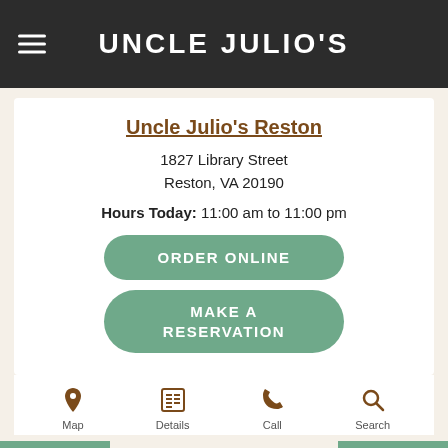UNCLE JULIO'S
Uncle Julio's Reston
1827 Library Street
Reston, VA 20190
Hours Today: 11:00 am to 11:00 pm
ORDER ONLINE
MAKE A RESERVATION
Map
Details
Call
Search
MORE LOCATIONS